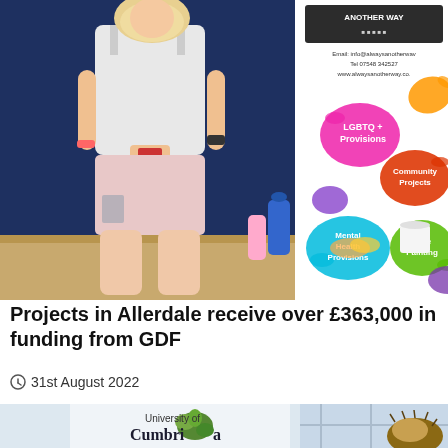[Figure (photo): A woman in a white top and light pink shorts stands in front of a colorful banner/display for 'Always Another Way' organization, showing services including LGBTQ+ Provisions, Community Projects, Mental Health Provisions, and Face Painting. Contact details visible on the banner.]
Projects in Allerdale receive over £363,000 in funding from GDF
🕐 31st August 2022
[Figure (photo): Partial view of a University of Cumbria banner/sign with the university logo (green leaf design).]